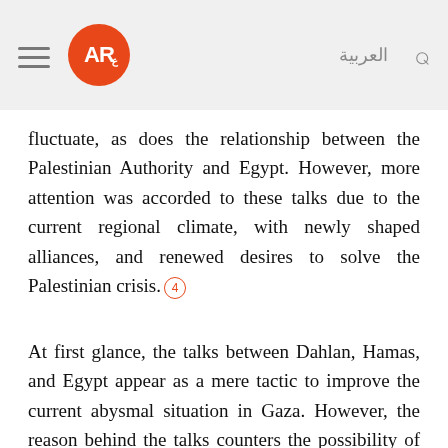AR [logo] | العربية | Search
fluctuate, as does the relationship between the Palestinian Authority and Egypt. However, more attention was accorded to these talks due to the current regional climate, with newly shaped alliances, and renewed desires to solve the Palestinian crisis. 4
At first glance, the talks between Dahlan, Hamas, and Egypt appear as a mere tactic to improve the current abysmal situation in Gaza. However, the reason behind the talks counters the possibility of establishing a state in Gaza. The feasibility of a Palestinian state in Gaza as a pan Arab solution to the Palestinian crisis is one favoured by Israel and the